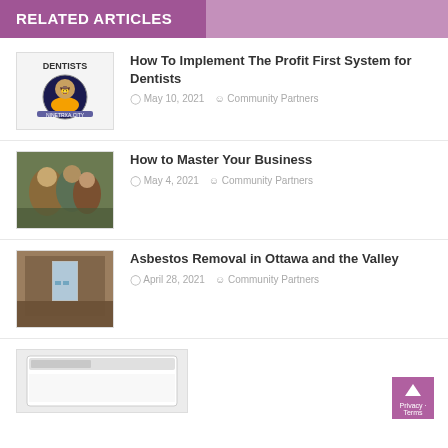RELATED ARTICLES
[Figure (illustration): Dentists logo illustration showing a cartoon cowboy character with guitar]
How To Implement The Profit First System for Dentists
May 10, 2021  Community Partners
[Figure (photo): Photo of group of people in colorful costumes or characters outdoors]
How to Master Your Business
May 4, 2021  Community Partners
[Figure (photo): Photo of an old abandoned interior room with window and blue smoke]
Asbestos Removal in Ottawa and the Valley
April 28, 2021  Community Partners
[Figure (screenshot): Partial screenshot of a laptop on a light marble background]
Privacy - Terms